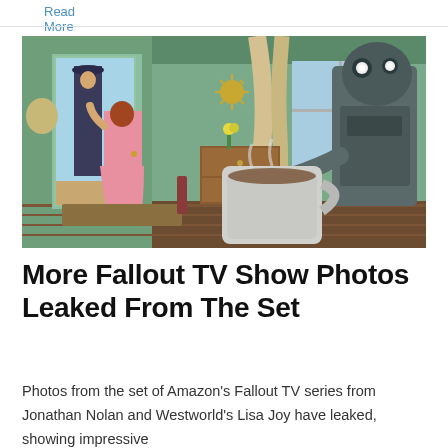Read More »
[Figure (illustration): Retro-futuristic interior scene from the Fallout TV show set: a woman in a pink dress opens a front door to a man in a hat outside, a mid-century modern living room with green walls and wood furniture, and a large robot/automaton holding a coffee mug in the foreground right.]
More Fallout TV Show Photos Leaked From The Set
Photos from the set of Amazon's Fallout TV series from Jonathan Nolan and Westworld's Lisa Joy have leaked, showing impressive